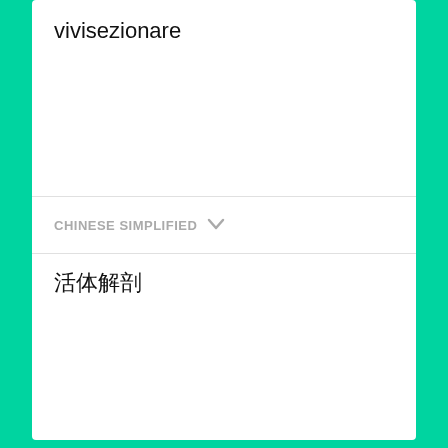vivisezionare
CHINESE SIMPLIFIED
活体解剖